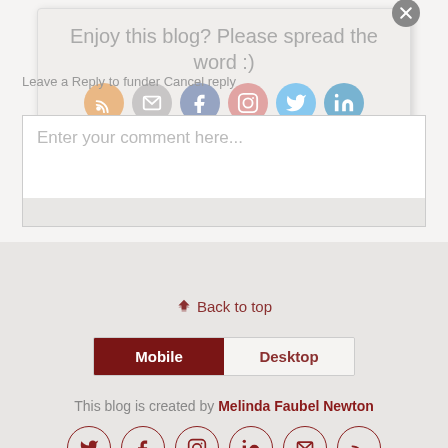Enjoy this blog? Please spread the word :)
Leave a Reply to funder Cancel reply
[Figure (screenshot): Social media share icons: RSS (orange), email (grey), Facebook (blue), Instagram (pink/red), Twitter (blue), LinkedIn (blue) — semi-transparent circles]
Enter your comment here...
⋀ Back to top
[Figure (screenshot): Mobile/Desktop toggle tab bar — Mobile tab selected (dark red background), Desktop tab unselected (light background)]
This blog is created by Melinda Faubel Newton
[Figure (screenshot): Row of 6 dark red outlined social icon circles: Twitter, Facebook, Instagram, LinkedIn, Email, RSS]